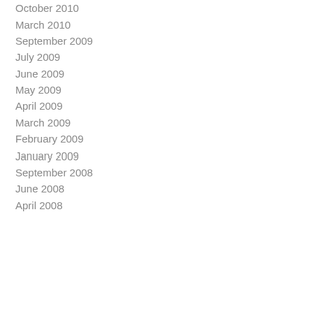October 2010
March 2010
September 2009
July 2009
June 2009
May 2009
April 2009
March 2009
February 2009
January 2009
September 2008
June 2008
April 2008